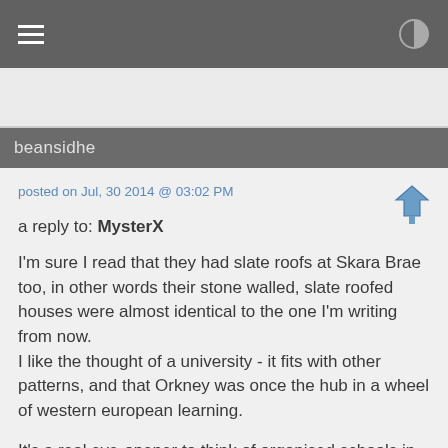beansidhe
posted on Jul, 30 2014 @ 03:02 PM
a reply to: MysterX
I'm sure I read that they had slate roofs at Skara Brae too, in other words their stone walled, slate roofed houses were almost identical to the one I'm writing from now.
I like the thought of a university - it fits with other patterns, and that Orkney was once the hub in a wheel of western european learning.
It's a real eye-opener to think of organised schools in Britain so long ago, a fresh way to think of our neolithic relatives.